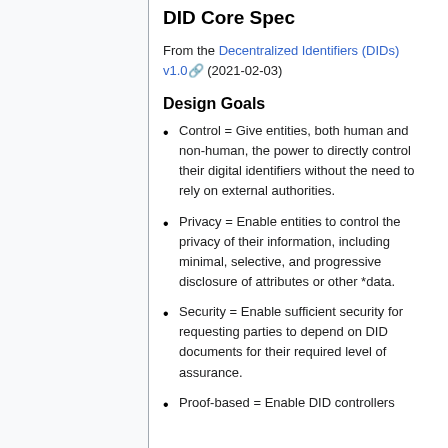DID Core Spec
From the Decentralized Identifiers (DIDs) v1.0 (2021-02-03)
Design Goals
Control = Give entities, both human and non-human, the power to directly control their digital identifiers without the need to rely on external authorities.
Privacy = Enable entities to control the privacy of their information, including minimal, selective, and progressive disclosure of attributes or other *data.
Security = Enable sufficient security for requesting parties to depend on DID documents for their required level of assurance.
Proof-based = Enable DID controllers